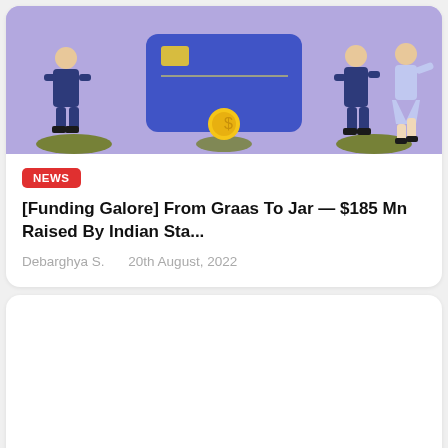[Figure (illustration): Purple-background illustration showing cartoon figures in business attire, a large blue credit/debit card with dashed pattern in the center, and a gold coin. Characters appear to be interacting around the card.]
NEWS
[Funding Galore] From Graas To Jar — $185 Mn Raised By Indian Sta...
Debarghya S.    20th August, 2022